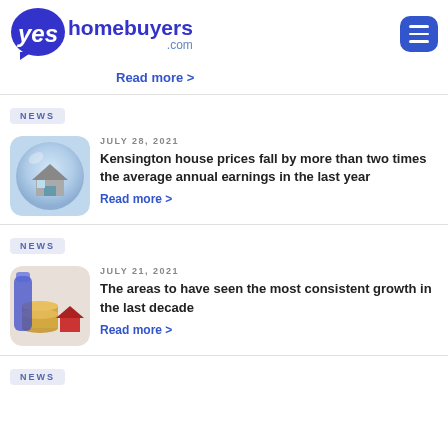YesHomeBuyers.com
Read more >
NEWS
JULY 28, 2021
[Figure (photo): House inside a glass bubble illustration]
Kensington house prices fall by more than two times the average annual earnings in the last year
Read more >
NEWS
JULY 21, 2021
[Figure (photo): Coins stacked with a small red house model — property investment concept]
The areas to have seen the most consistent growth in the last decade
Read more >
NEWS